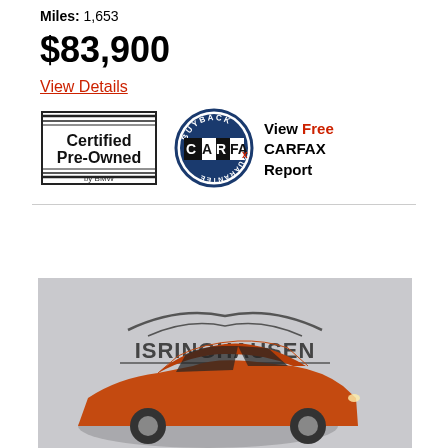Miles: 1,653
$83,900
View Details
[Figure (logo): Certified Pre-Owned by BMW badge with horizontal lines on sides]
[Figure (logo): CARFAX Buyback Guarantee circular badge]
View Free CARFAX Report
[Figure (photo): Orange BMW coupe in front of Isringhausen dealership logo on gray background]